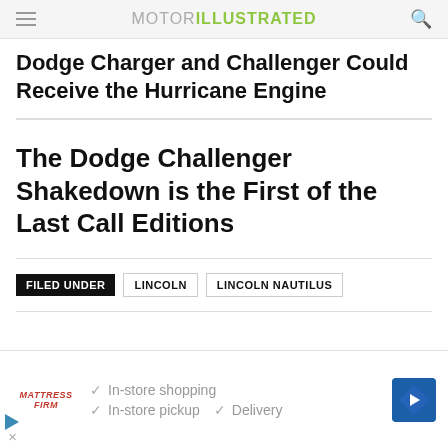MOTOR ILLUSTRATED
Dodge Charger and Challenger Could Receive the Hurricane Engine
The Dodge Challenger Shakedown is the First of the Last Call Editions
FILED UNDER  LINCOLN  LINCOLN NAUTILUS
[Figure (other): Advertisement banner for Mattress Firm showing checkmarks for In-store shopping, In-store pickup, and Delivery with a navigation direction icon]